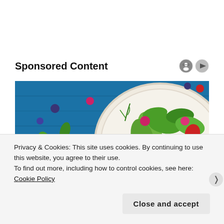Sponsored Content
[Figure (photo): A plate of fresh salad with strawberries, blueberries, blackberries, raspberries, avocado slices, and green herbs on a blue wooden background]
Privacy & Cookies: This site uses cookies. By continuing to use this website, you agree to their use.
To find out more, including how to control cookies, see here: Cookie Policy
Close and accept